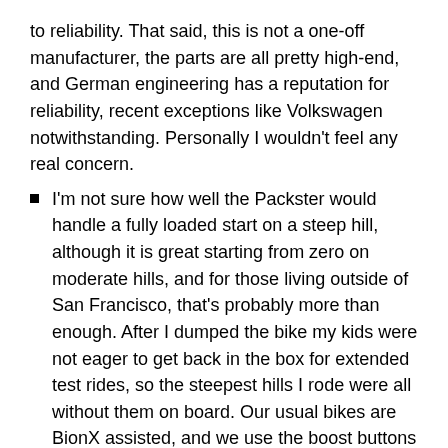to reliability. That said, this is not a one-off manufacturer, the parts are all pretty high-end, and German engineering has a reputation for reliability, recent exceptions like Volkswagen notwithstanding. Personally I wouldn't feel any real concern.
I'm not sure how well the Packster would handle a fully loaded start on a steep hill, although it is great starting from zero on moderate hills, and for those living outside of San Francisco, that's probably more than enough. After I dumped the bike my kids were not eager to get back in the box for extended test rides, so the steepest hills I rode were all without them on board. Our usual bikes are BionX assisted, and we use the boost buttons to make the steep uphill starts. As a comparison I tried making a steep start from a dead stop with the assist dialed up to 4 and the gearing